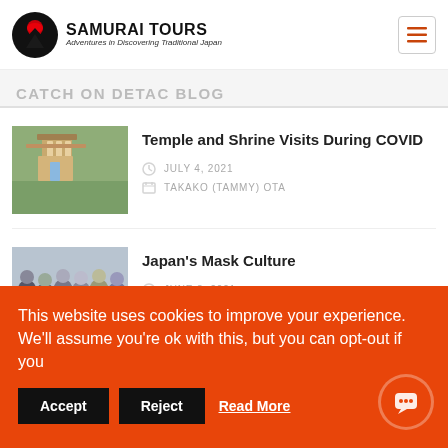SAMURAI TOURS — Adventures in Discovering Traditional Japan
CATCH ON DETAC BLOG
Temple and Shrine Visits During COVID
JULY 4, 2021 | TAKAKO (TAMMY) OTA
Japan's Mask Culture
JUNE 8, 2021 | TAKAKO (TAMMY) OTA
This website uses cookies to improve your experience. We'll assume you're ok with this, but you can opt-out if you